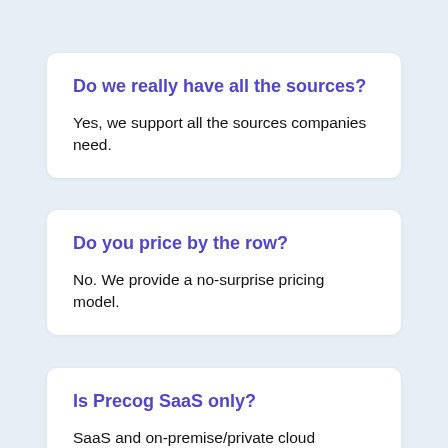Do we really have all the sources?
Yes, we support all the sources companies need.
Do you price by the row?
No. We provide a no-surprise pricing model.
Is Precog SaaS only?
SaaS and on-premise/private cloud